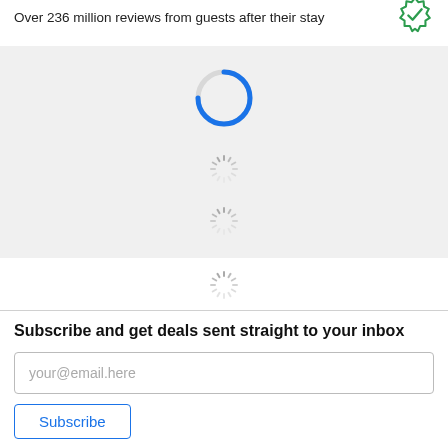Over 236 million reviews from guests after their stay
[Figure (other): Green badge/seal icon in the top right corner]
[Figure (other): Large circular loading spinner (blue arc on gray circle) in a gray background section]
[Figure (other): Small circular loading spinner (gray radiating lines) below the large spinner]
[Figure (other): Second small circular loading spinner (gray radiating lines) below the first small spinner]
[Figure (other): Third small circular loading spinner (gray radiating lines) below the gray section]
Subscribe and get deals sent straight to your inbox
your@email.here
Subscribe